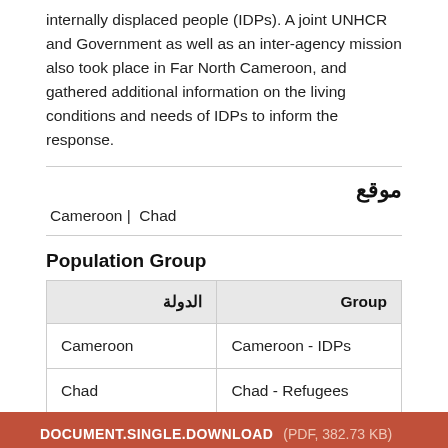internally displaced people (IDPs). A joint UNHCR and Government as well as an inter-agency mission also took place in Far North Cameroon, and gathered additional information on the living conditions and needs of IDPs to inform the response.
موقع
Cameroon | Chad
Population Group
| الدولة | Group |
| --- | --- |
| Cameroon | Cameroon - IDPs |
| Chad | Chad - Refugees |
DOCUMENT.SINGLE.DOWNLOAD (PDF, 382.73 KB)